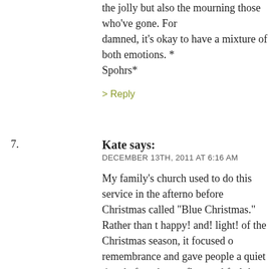the jolly but also the mourning those who've gone. For damned, it's okay to have a mixture of both emotions. * Spohrs*
> Reply
7. Kate says: DECEMBER 13TH, 2011 AT 6:16 AM
My family's church used to do this service in the afternoon before Christmas called "Blue Christmas." Rather than the happy! and! light! of the Christmas season, it focused on remembrance and gave people a quiet time before the a reflect and feel the sadder parts of the season, instead of under the rug. And while I'm sure that sounds super de participated in the service several times and found that More than pretending not to feel anything sad ever cou
I've also always really liked "Have Yourself a Merry Little because, even in the state it's in now, it's always felt to m about having a Christmas when things are hard. The ide it's not a good Christmas, but next year, it'll be better. F and troubles will be gone and we can rock around the C the whatnot. That kind of hope is a lot about what Chr